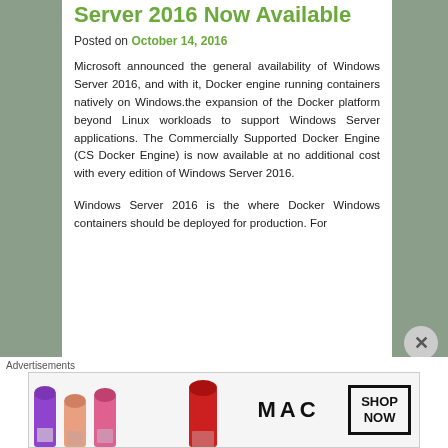Server 2016 Now Available
Posted on October 14, 2016
Microsoft announced the general availability of Windows Server 2016, and with it, Docker engine running containers natively on Windows.the expansion of the Docker platform beyond Linux workloads to support Windows Server applications. The Commercially Supported Docker Engine (CS Docker Engine) is now available at no additional cost with every edition of Windows Server 2016.
Windows Server 2016 is the where Docker Windows containers should be deployed for production. For
[Figure (illustration): MAC cosmetics advertisement banner showing lipsticks in purple, peach, pink and red colors, MAC logo, and SHOP NOW button]
Advertisements